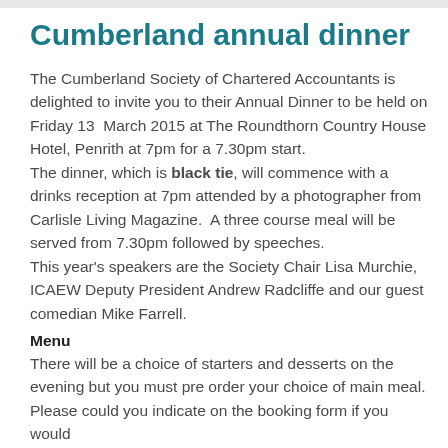Cumberland annual dinner
The Cumberland Society of Chartered Accountants is delighted to invite you to their Annual Dinner to be held on Friday 13  March 2015 at The Roundthorn Country House Hotel, Penrith at 7pm for a 7.30pm start.
The dinner, which is black tie, will commence with a drinks reception at 7pm attended by a photographer from Carlisle Living Magazine.  A three course meal will be served from 7.30pm followed by speeches.
This year's speakers are the Society Chair Lisa Murchie, ICAEW Deputy President Andrew Radcliffe and our guest comedian Mike Farrell.
Menu
There will be a choice of starters and desserts on the evening but you must pre order your choice of main meal.  Please could you indicate on the booking form if you would